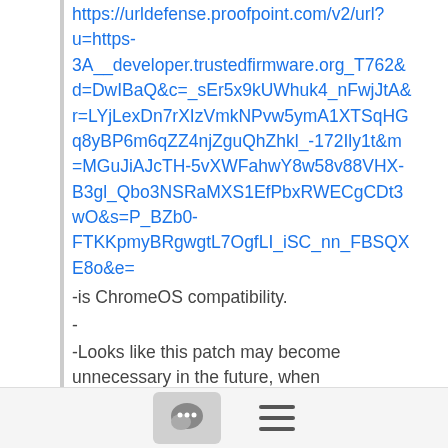https://urldefense.proofpoint.com/v2/url?u=https-3A__developer.trustedfirmware.org_T762&d=DwIBaQ&c=_sEr5x9kUWhuk4_nFwjJtA&r=LYjLexDn7rXIzVmkNPvw5ymA1XTSqHGq8yBP6m6qZZ4njZguQhZhkl_-172Ily1t&m=MGuJiAJcTH-5vXWFahwY8w58v88VHX-B3gl_Qbo3NSRaMXS1EfPbxRWECgCDt3wO&s=P_BZb0-FTKKpmyBRgwgtL7OgfLI_iSC_nn_FBSQXE8o&e=
-is ChromeOS compatibility.
-
-Looks like this patch may become unnecessary in the future, when -u-boot and TF-A get to communicate this value.
-
----